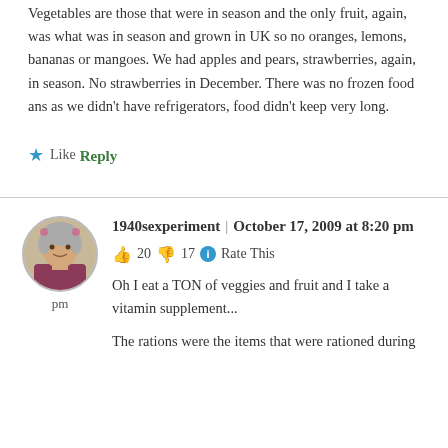Vegetables are those that were in season and the only fruit, again, was what was in season and grown in UK so no oranges, lemons, bananas or mangoes. We had apples and pears, strawberries, again, in season. No strawberries in December. There was no frozen food ans as we didn't have refrigerators, food didn't keep very long.
★ Like
Reply
1940sexperiment | October 17, 2009 at 8:20 pm
👍 20 👎 17 ℹ Rate This
Oh I eat a TON of veggies and fruit and I take a vitamin supplement...
The rations were the items that were rationed during